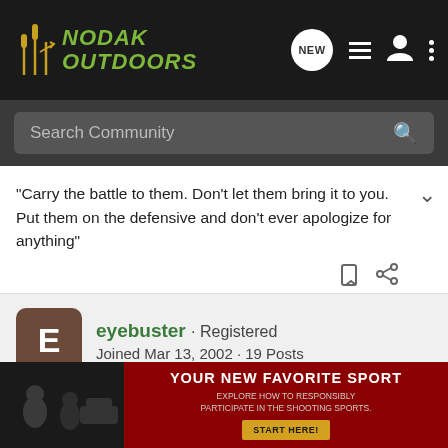[Figure (screenshot): Nodak Outdoors community forum page header with logo, navigation icons (NEW chat bubble, list, user, dots), search bar, a quoted post with collapse chevron, bookmark and share icons, and user profile for 'eyebuster' (Registered, Joined Mar 13, 2002, 19 Posts), followed by post #4 dated Aug 21, 2002 with forum text and a partially visible advertisement banner.]
"Carry the battle to them. Don't let them bring it to you. Put them on the defensive and don't ever apologize for anything"
eyebuster · Registered
Joined Mar 13, 2002 · 19 Posts
#4 · Aug 21, 2002
anyone hear anything about "FAST EDDY" buying property in Mott and leasing up some pheasant ground???????? Hmmmmm........HEY!!! MResner aren't you from Mott what's happening